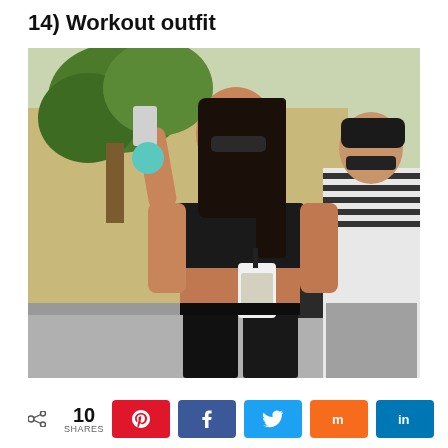14) Workout outfit
[Figure (photo): A woman in a black athletic crop top and shiny black leggings walking on a street, holding a clear iced drink and a phone with a teal pom-pom keychain, wearing sunglasses. Another woman in a striped top is visible on the right side.]
< 10 SHARES